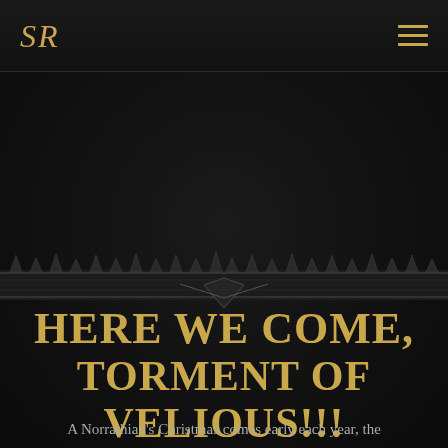SR
[Figure (illustration): Dark leather/metal textured background with a decorative spiky horizontal divider band across the middle of the page]
Here We Come, Torment of Velious!!!
A Norrathian's Christmas comes early each year, the